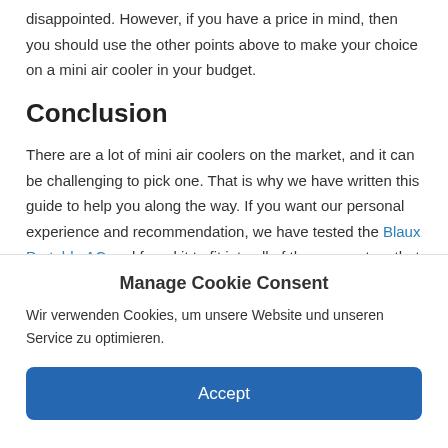disappointed. However, if you have a price in mind, then you should use the other points above to make your choice on a mini air cooler in your budget.
Conclusion
There are a lot of mini air coolers on the market, and it can be challenging to pick one. That is why we have written this guide to help you along the way. If you want our personal experience and recommendation, we have tested the Blaux Portable AC and found it to fit into all of the parameters that we have written about in this
Manage Cookie Consent
Wir verwenden Cookies, um unsere Website und unseren Service zu optimieren.
Accept